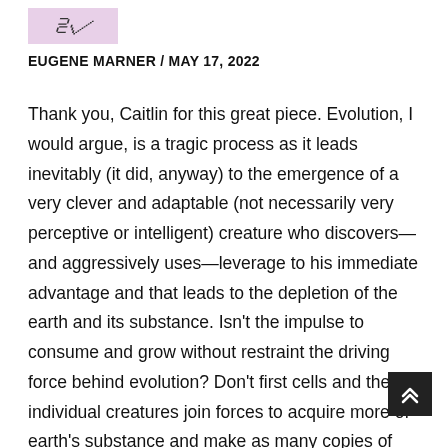[Figure (illustration): Small avatar/signature area with a handwritten squiggle on a light purple/pink background]
EUGENE MARNER / MAY 17, 2022
Thank you, Caitlin for this great piece. Evolution, I would argue, is a tragic process as it leads inevitably (it did, anyway) to the emergence of a very clever and adaptable (not necessarily very perceptive or intelligent) creature who discovers—and aggressively uses—leverage to his immediate advantage and that leads to the depletion of the earth and its substance. Isn't the impulse to consume and grow without restraint the driving force behind evolution? Don't first cells and then individual creatures join forces to acquire more of earth's substance and make as many copies of